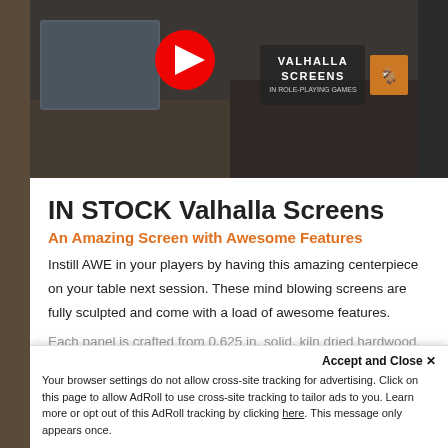[Figure (screenshot): YouTube video thumbnail for Valhalla Screens product with play button and brand logo overlay]
IN STOCK Valhalla Screens
An Amazing Screen with Awesome Features
Instill AWE in your players by having this amazing centerpiece on your table next session. These mind blowing screens are fully sculpted and come with a load of awesome features.
Each panel is crafted from 0.625 in. solid, kiln dried hardwood. Our screens are created from hand selected
Accept and Close ✕
Your browser settings do not allow cross-site tracking for advertising. Click on this page to allow AdRoll to use cross-site tracking to tailor ads to you. Learn more or opt out of this AdRoll tracking by clicking here. This message only appears once.